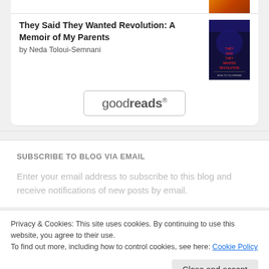[Figure (illustration): Partial book cover visible at top right, orange/red gradient]
They Said They Wanted Revolution: A Memoir of My Parents
by Neda Toloui-Semnani
[Figure (illustration): Book cover for 'They Said They Wanted Revolution' — dark blue/purple background with red text]
[Figure (logo): Goodreads button/logo inside a rounded rectangle border]
SUBSCRIBE TO BLOG VIA EMAIL
Enter your email address to subscribe to this blog and receive notifications of new posts by email.
Privacy & Cookies: This site uses cookies. By continuing to use this website, you agree to their use.
To find out more, including how to control cookies, see here: Cookie Policy